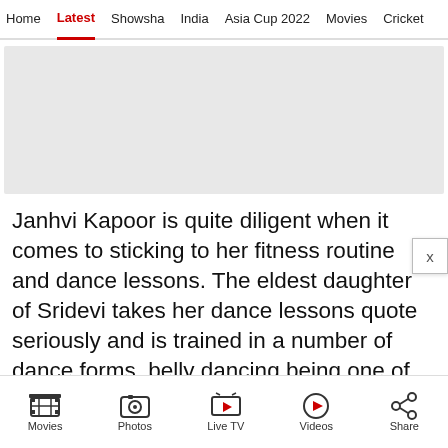Home  Latest  Showsha  India  Asia Cup 2022  Movies  Cricket
[Figure (other): Gray advertisement placeholder block]
Janhvi Kapoor is quite diligent when it comes to sticking to her fitness routine and dance lessons. The eldest daughter of Sridevi takes her dance lessons quote seriously and is trained in a number of dance forms, belly dancing being one of them.
Before the lockdown, the actress used to
Movies  Photos  Live TV  Videos  Share